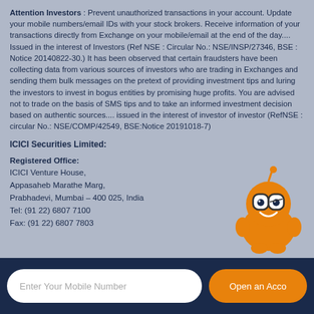Attention Investors : Prevent unauthorized transactions in your account. Update your mobile numbers/email IDs with your stock brokers. Receive information of your transactions directly from Exchange on your mobile/email at the end of the day.... Issued in the interest of Investors (Ref NSE : Circular No.: NSE/INSP/27346, BSE : Notice 20140822-30.) It has been observed that certain fraudsters have been collecting data from various sources of investors who are trading in Exchanges and sending them bulk messages on the pretext of providing investment tips and luring the investors to invest in bogus entities by promising huge profits. You are advised not to trade on the basis of SMS tips and to take an informed investment decision based on authentic sources.... issued in the interest of investor of investor (RefNSE : circular No.: NSE/COMP/42549, BSE:Notice 20191018-7)
ICICI Securities Limited:
Registered Office:
ICICI Venture House,
Appasaheb Marathe Marg,
Prabhadevi, Mumbai – 400 025, India
Tel: (91 22) 6807 7100
Fax: (91 22) 6807 7803
[Figure (illustration): Orange cartoon robot/mascot character with antenna, glasses, and a smile, sitting in the bottom-right corner]
Enter Your Mobile Number | Open an Acco...